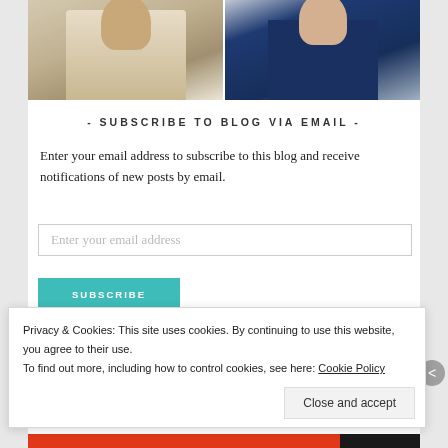[Figure (photo): Two photos side by side: left shows a man with a beard drinking from a glass with a straw and lemon, wearing a knit sweater; right shows a woman in a navy blue sleeveless dress with a statement necklace.]
- SUBSCRIBE TO BLOG VIA EMAIL -
Enter your email address to subscribe to this blog and receive notifications of new posts by email.
Enter your email address
SUBSCRIBE
Privacy & Cookies: This site uses cookies. By continuing to use this website, you agree to their use.
To find out more, including how to control cookies, see here: Cookie Policy
Close and accept